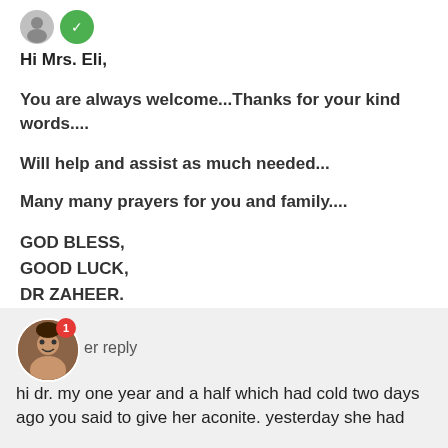Hi Mrs. Eli,
You are always welcome...Thanks for your kind words....
Will help and assist as much needed...
Many many prayers for you and family....
GOD BLESS,
GOOD LUCK,
DR ZAHEER.
er reply
hi dr. my one year and a half which had cold two days ago you said to give her aconite. yesterday she had